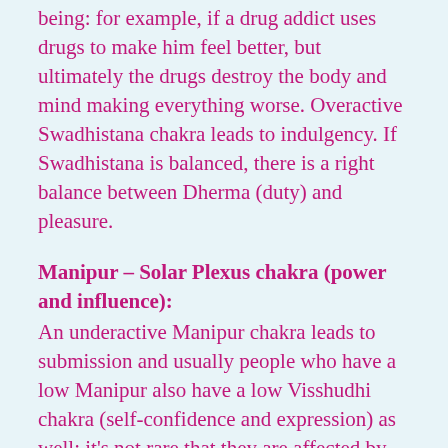being: for example, if a drug addict uses drugs to make him feel better, but ultimately the drugs destroy the body and mind making everything worse. Overactive Swadhistana chakra leads to indulgency. If Swadhistana is balanced, there is a right balance between Dherma (duty) and pleasure.
Manipur – Solar Plexus chakra (power and influence):
An underactive Manipur chakra leads to submission and usually people who have a low Manipur also have a low Visshudhi chakra (self-confidence and expression) as well; it's not rare that they are affected by abuse earlier in their lives.